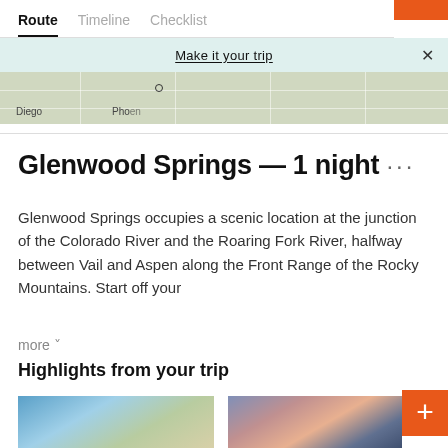Route | Timeline | Checklist
Make it your trip
[Figure (map): Partial map strip showing geographic region with city labels including Diego and location dot marker]
Glenwood Springs — 1 night ···
Glenwood Springs occupies a scenic location at the junction of the Colorado River and the Roaring Fork River, halfway between Vail and Aspen along the Front Range of the Rocky Mountains. Start off your
more ˅
Highlights from your trip
[Figure (photo): Mountain landscape photo with blue sky and snow-capped peaks]
[Figure (photo): Winter town scene at dusk with pink/purple sky and snow-covered buildings]